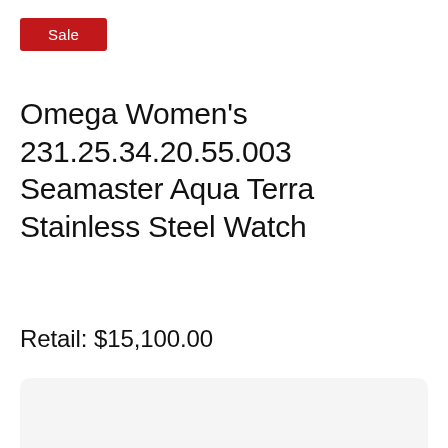Sale
Omega Women's 231.25.34.20.55.003 Seamaster Aqua Terra Stainless Steel Watch
Retail: $15,100.00
[Figure (photo): White/light grey image area placeholder for product photo]